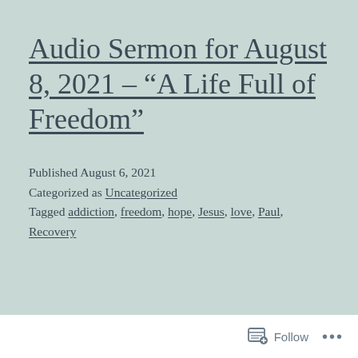Audio Sermon for August 8, 2021 – “A Life Full of Freedom”
Published August 6, 2021
Categorized as Uncategorized
Tagged addiction, freedom, hope, Jesus, love, Paul, Recovery
Follow